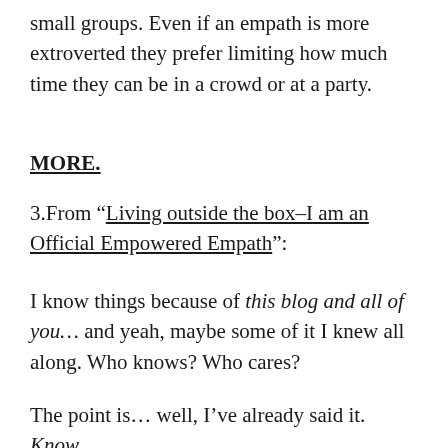small groups. Even if an empath is more extroverted they prefer limiting how much time they can be in a crowd or at a party.
MORE.
3.From “Living outside the box–I am an Official Empowered Empath”:
I know things because of this blog and all of you… and yeah, maybe some of it I knew all along. Who knows? Who cares?
The point is… well, I’ve already said it. Know.